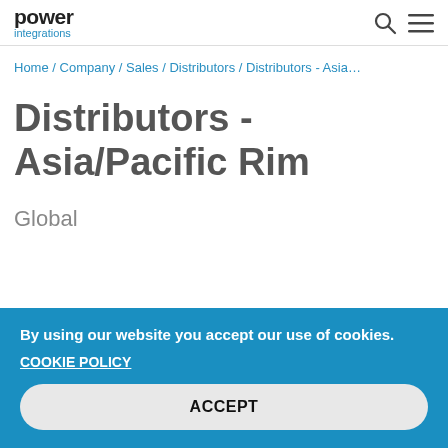power integrations
Home / Company / Sales / Distributors / Distributors - Asia...
Distributors - Asia/Pacific Rim
Global
By using our website you accept our use of cookies.
COOKIE POLICY
ACCEPT